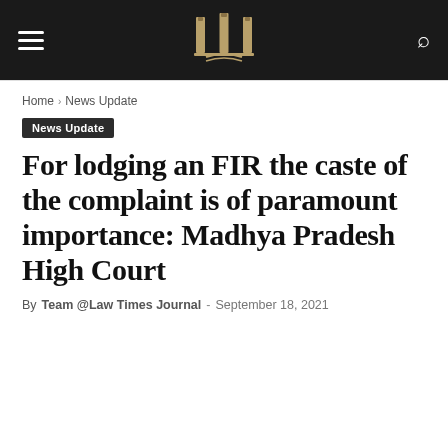Law Times Journal — site header with navigation, logo, and search
Home › News Update
News Update
For lodging an FIR the caste of the complaint is of paramount importance: Madhya Pradesh High Court
By Team @Law Times Journal - September 18, 2021